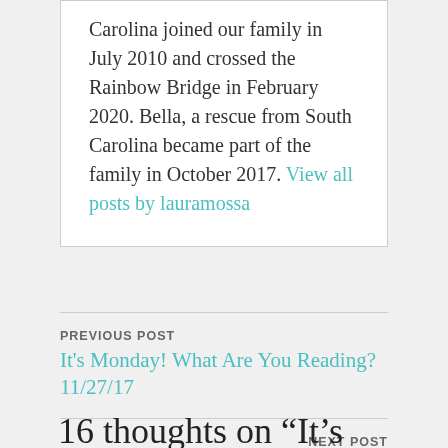Carolina joined our family in July 2010 and crossed the Rainbow Bridge in February 2020. Bella, a rescue from South Carolina became part of the family in October 2017. View all posts by lauramossa
PREVIOUS POST
It's Monday! What Are You Reading? 11/27/17
NEXT POST
It's Monday! What Are You Reading? 12/11/17
16 thoughts on “It's Monday! What